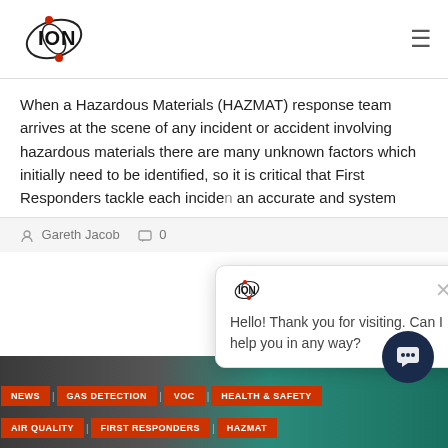[Figure (logo): ION Science logo with orbital ellipses and red dot]
When a Hazardous Materials (HAZMAT) response team arrives at the scene of any incident or accident involving hazardous materials there are many unknown factors which initially need to be identified, so it is critical that First Responders tackle each incident an accurate and system
Gareth Jacob   0
[Figure (screenshot): Chat popup with ION logo, close button, and message: Hello! Thank you for visiting. Can I help you in any way?]
[Figure (photo): Bottom strip with person in safety gear and navigation tag labels: NEWS, GAS DETECTION, VOC, HEALTH & SAFETY, AIR QUALITY, FIRST RESPONDERS, HAZMAT]